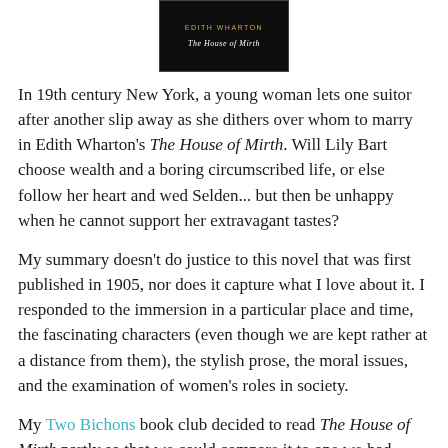[Figure (photo): Book cover of 'The House of Mirth' by Edith Wharton — black background with gold author name and white italic title text]
In 19th century New York, a young woman lets one suitor after another slip away as she dithers over whom to marry in Edith Wharton's The House of Mirth. Will Lily Bart choose wealth and a boring circumscribed life, or else follow her heart and wed Selden... but then be unhappy when he cannot support her extravagant tastes?
My summary doesn't do justice to this novel that was first published in 1905, nor does it capture what I love about it. I responded to the immersion in a particular place and time, the fascinating characters (even though we are kept rather at a distance from them), the stylish prose, the moral issues, and the examination of women's roles in society.
My Two Bichons book club decided to read The House of Mirth partly so that we could compare it to one we had discussed previously: Meg Wolitzer's The Interestings. It was a good pairing. I found Lily Bart as irritating as Julie Jacobson, then gradually came around to appreciate them.